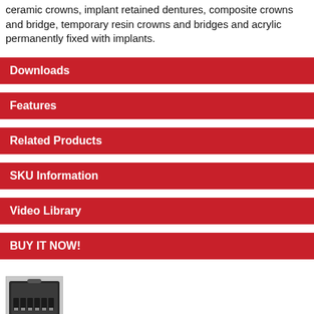ceramic crowns, implant retained dentures, composite crowns and bridge, temporary resin crowns and bridges and acrylic permanently fixed with implants.
Downloads
Features
Related Products
SKU Information
Video Library
BUY IT NOW!
[Figure (photo): Thumbnail image of a dental kit/case with tools]